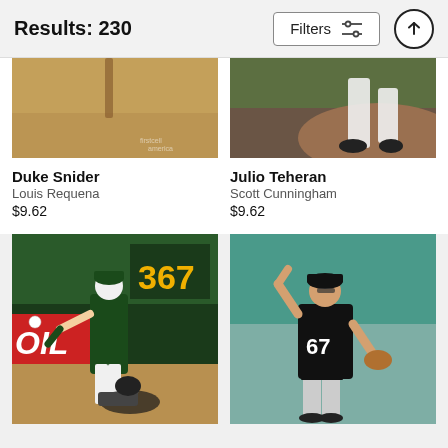Results: 230  Filters
[Figure (photo): Cropped baseball photo - Duke Snider, dirt/sand close-up with bat]
Duke Snider
Louis Requena
$9.62
[Figure (photo): Cropped baseball photo - Julio Teheran, pitcher feet on mound]
Julio Teheran
Scott Cunningham
$9.62
[Figure (photo): Oakland A's player throwing ball at second base, jersey number area, OIL billboard, 367 sign, baserunner sliding]
[Figure (photo): Chicago White Sox pitcher number 67 in black uniform mid-pitch delivery]